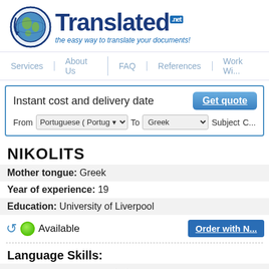[Figure (logo): Translated.net logo with globe icon and tagline 'the easy way to translate your documents!']
Services | About Us | FAQ | References | Work Wi...
Instant cost and delivery date   Get quote   From Portuguese (Portug... To Greek   Subject C...
NIKOLITS
Mother tongue: Greek
Year of experience: 19
Education: University of Liverpool
Available   Order with N...
Language Skills:
English to Greek (Verified) ☆ ☆